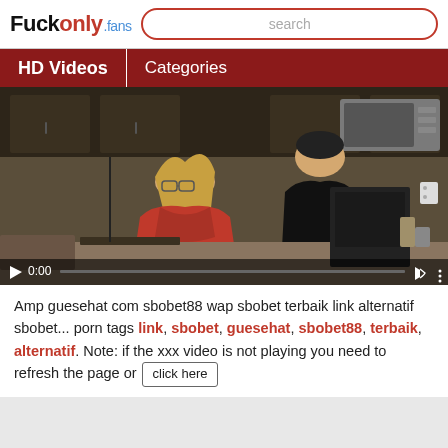Fuckonly.fans — search bar
HD Videos | Categories
[Figure (screenshot): Video player showing two people in a kitchen, one in a red outfit, with playback controls showing 0:00]
Amp guesehat com sbobet88 wap sbobet terbaik link alternatif sbobet... porn tags link, sbobet, guesehat, sbobet88, terbaik, alternatif. Note: if the xxx video is not playing you need to refresh the page or click here